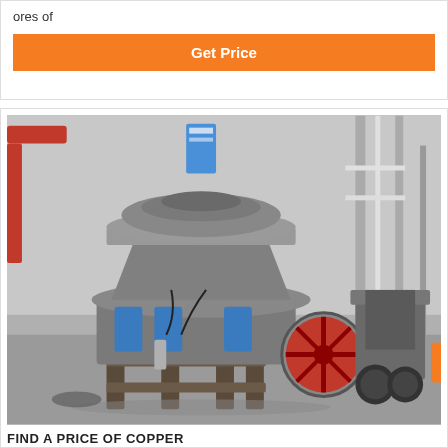ores of
Get Price
[Figure (photo): Industrial cone crusher machine in a factory/warehouse setting. Large grey cone crusher with blue hydraulic cylinders visible, a red flywheel on the right side, and additional crushing equipment in the background. The setting is an industrial manufacturing facility with steel structure framing visible.]
FIND A PRICE OF COPPER